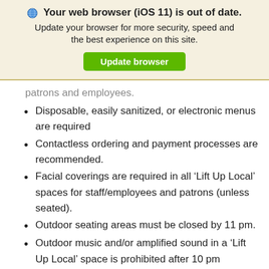[Figure (screenshot): Browser update warning banner with globe icon, bold text 'Your web browser (iOS 11) is out of date.', subtitle text 'Update your browser for more security, speed and the best experience on this site.', and a green 'Update browser' button]
patrons and employees.
Disposable, easily sanitized, or electronic menus are required
Contactless ordering and payment processes are recommended.
Facial coverings are required in all ‘Lift Up Local’ spaces for staff/employees and patrons (unless seated).
Outdoor seating areas must be closed by 11 pm.
Outdoor music and/or amplified sound in a ‘Lift Up Local’ space is prohibited after 10 pm